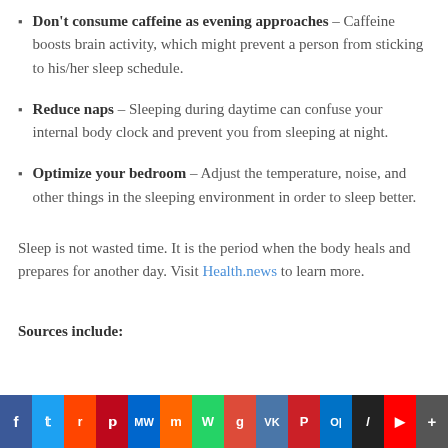Don't consume caffeine as evening approaches – Caffeine boosts brain activity, which might prevent a person from sticking to his/her sleep schedule.
Reduce naps – Sleeping during daytime can confuse your internal body clock and prevent you from sleeping at night.
Optimize your bedroom – Adjust the temperature, noise, and other things in the sleeping environment in order to sleep better.
Sleep is not wasted time. It is the period when the body heals and prepares for another day. Visit Health.news to learn more.
Sources include:
f  t  r  p  MW  m  W  g  VK  P  O|  /  ▶  +